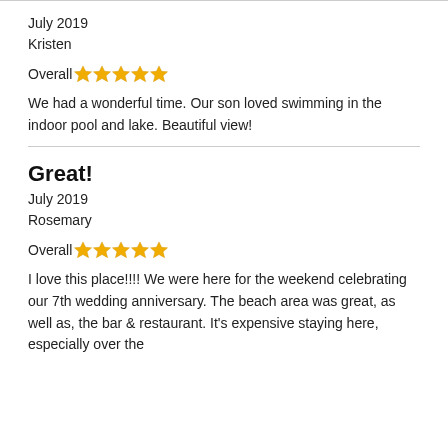July 2019
Kristen
Overall ★★★★★
We had a wonderful time. Our son loved swimming in the indoor pool and lake. Beautiful view!
Great!
July 2019
Rosemary
Overall ★★★★★
I love this place!!!! We were here for the weekend celebrating our 7th wedding anniversary. The beach area was great, as well as, the bar & restaurant. It's expensive staying here, especially over the